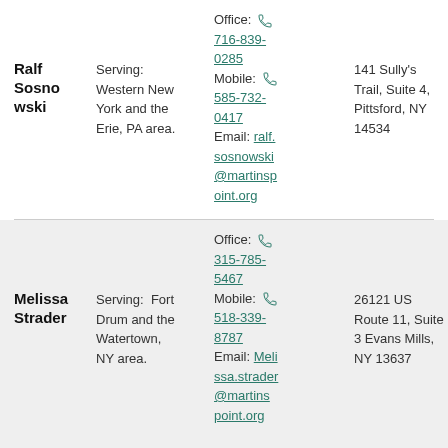Ralf Sosnowski
Serving: Western New York and the Erie, PA area.
Office: 716-839-0285
Mobile: 585-732-0417
Email: ralf.sosnowski@martinspoint.org
141 Sully's Trail, Suite 4, Pittsford, NY 14534
Melissa Strader
Serving: Fort Drum and the Watertown, NY area.
Office: 315-785-5467
Mobile: 518-339-8787
Email: Melissa.strader@martinspoint.org
26121 US Route 11, Suite 3 Evans Mills, NY 13637